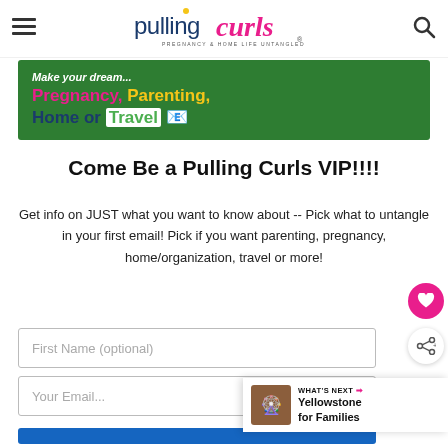pulling curls — PREGNANCY & HOME LIFE UNTANGLED
[Figure (illustration): Green banner with text: Pregnancy, Parenting, Home or Travel with emoji icons]
Come Be a Pulling Curls VIP!!!!
Get info on JUST what you want to know about -- Pick what to untangle in your first email! Pick if you want parenting, pregnancy, home/organization, travel or more!
First Name (optional)
Your Email...
[Figure (other): What's Next: Yellowstone for Families sidebar widget]